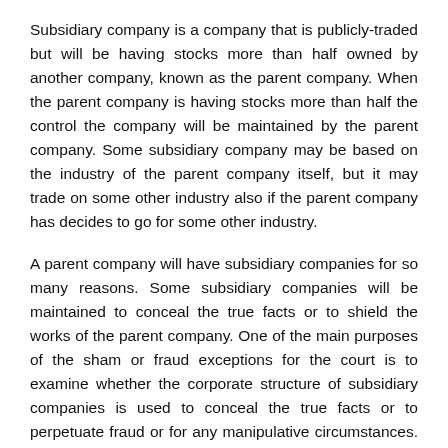Subsidiary company is a company that is publicly-traded but will be having stocks more than half owned by another company, known as the parent company. When the parent company is having stocks more than half the control the company will be maintained by the parent company. Some subsidiary company may be based on the industry of the parent company itself, but it may trade on some other industry also if the parent company has decides to go for some other industry.
A parent company will have subsidiary companies for so many reasons. Some subsidiary companies will be maintained to conceal the true facts or to shield the works of the parent company. One of the main purposes of the sham or fraud exceptions for the court is to examine whether the corporate structure of subsidiary companies is used to conceal the true facts or to perpetuate fraud or for any manipulative circumstances. In circumstances where the court comes across with such a situation , the usual phenomenon is to lift the corporate veil to the decide on the liability.
The exception of sham or fraud was developed by the